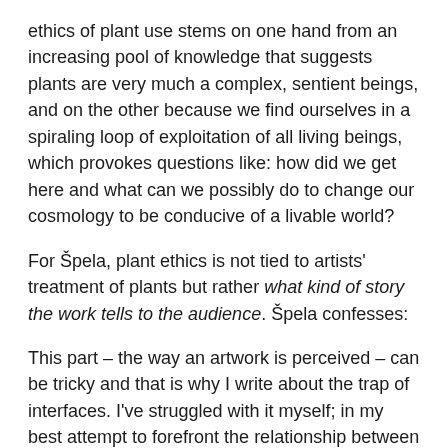ethics of plant use stems on one hand from an increasing pool of knowledge that suggests plants are very much a complex, sentient beings, and on the other because we find ourselves in a spiraling loop of exploitation of all living beings, which provokes questions like: how did we get here and what can we possibly do to change our cosmology to be conducive of a livable world?
For Špela, plant ethics is not tied to artists' treatment of plants but rather what kind of story the work tells to the audience. Špela confesses:
This part – the way an artwork is perceived – can be tricky and that is why I write about the trap of interfaces. I've struggled with it myself; in my best attempt to forefront the relationship between humans and plants I sometimes had to admit to being overpowered by the technology I used.